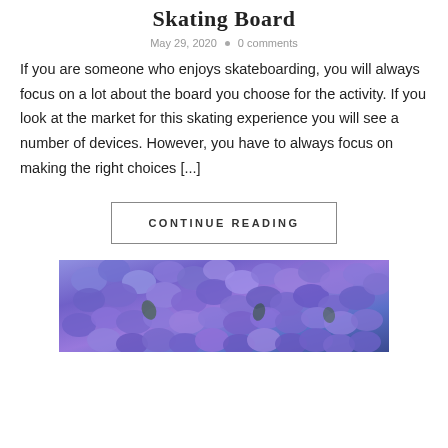Skating Board
May 29, 2020  •  0 comments
If you are someone who enjoys skateboarding, you will always focus on a lot about the board you choose for the activity. If you look at the market for this skating experience you will see a number of devices. However, you have to always focus on making the right choices [...]
CONTINUE READING
[Figure (photo): Blue hydrangea flowers close-up photograph]